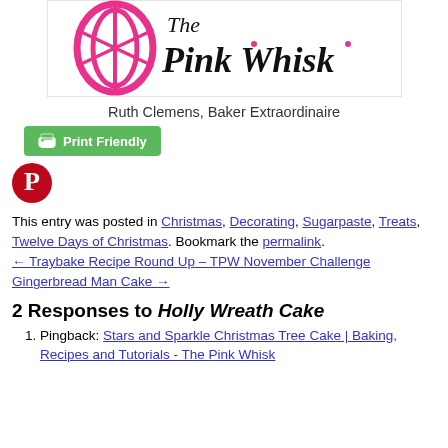[Figure (logo): The Pink Whisk logo with pink whisk illustration and cursive/handwritten text]
Ruth Clemens, Baker Extraordinaire
[Figure (other): Print Friendly green button with printer icon]
[Figure (logo): Pinterest red circle logo]
This entry was posted in Christmas, Decorating, Sugarpaste, Treats, Twelve Days of Christmas. Bookmark the permalink.
← Traybake Recipe Round Up – TPW November Challenge
Gingerbread Man Cake →
2 Responses to Holly Wreath Cake
Pingback: Stars and Sparkle Christmas Tree Cake | Baking, Recipes and Tutorials - The Pink Whisk